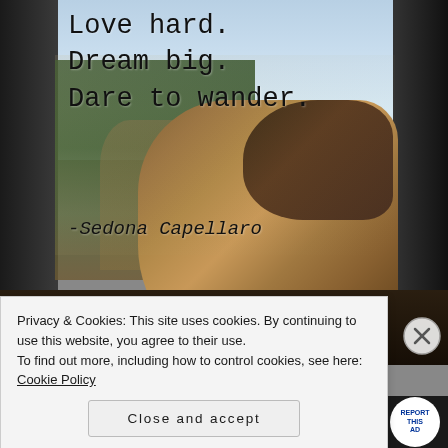[Figure (photo): Photo of a person resting cowboy boots on a car dashboard while looking out the window at a road lined with tall evergreen trees and a blue sky with clouds. The image has warm, vintage tones.]
Love hard.
Dream big.
Dare to wander.
-Sedona Capellaro
Privacy & Cookies: This site uses cookies. By continuing to use this website, you agree to their use.
To find out more, including how to control cookies, see here: Cookie Policy
Close and accept